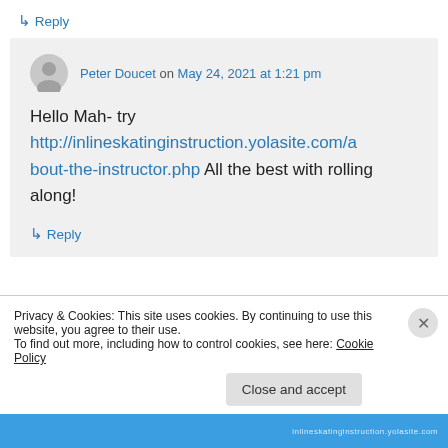↪ Reply
Peter Doucet on May 24, 2021 at 1:21 pm
Hello Mah- try http://inlineskatinginstruction.yolasite.com/about-the-instructor.php All the best with rolling along!
↪ Reply
Privacy & Cookies: This site uses cookies. By continuing to use this website, you agree to their use.
To find out more, including how to control cookies, see here: Cookie Policy
Close and accept